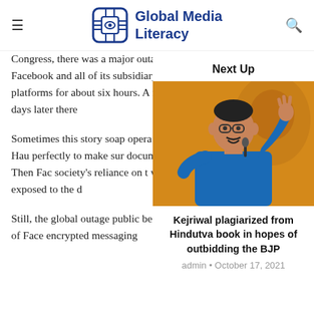Global Media Literacy
Congress, there was a major outage on Facebook and all of its subsidiary platforms for about six hours. A few days later there
Sometimes this story soap opera story. Hau perfectly to make sur documents. Then Fac society's reliance on t were exposed to the d
Still, the global outage public benefit of Face encrypted messaging
Next Up
[Figure (photo): Man in blue shirt raising hand at a rally, with a large portrait poster in the background]
Kejriwal plagiarized from Hindutva book in hopes of outbidding the BJP
admin • October 17, 2021